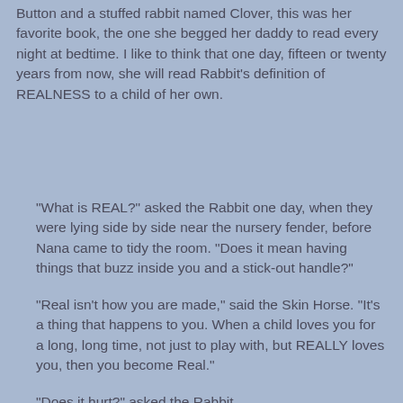Button and a stuffed rabbit named Clover, this was her favorite book, the one she begged her daddy to read every night at bedtime. I like to think that one day, fifteen or twenty years from now, she will read Rabbit's definition of REALNESS to a child of her own.
"What is REAL?" asked the Rabbit one day, when they were lying side by side near the nursery fender, before Nana came to tidy the room. "Does it mean having things that buzz inside you and a stick-out handle?"
"Real isn't how you are made," said the Skin Horse. "It's a thing that happens to you. When a child loves you for a long, long time, not just to play with, but REALLY loves you, then you become Real."
"Does it hurt?" asked the Rabbit.
"Sometimes," said the Skin Horse, for he was